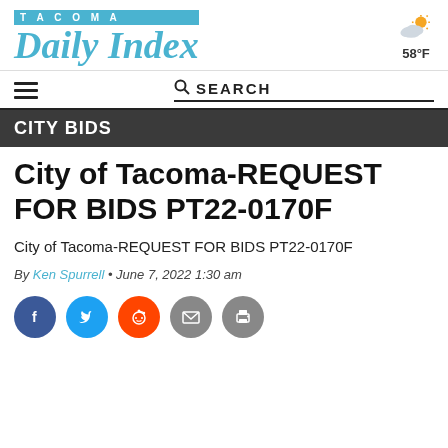TACOMA Daily Index
[Figure (illustration): Partly cloudy weather icon with sun and cloud, showing 58°F temperature]
CITY BIDS
City of Tacoma-REQUEST FOR BIDS PT22-0170F
City of Tacoma-REQUEST FOR BIDS PT22-0170F
By Ken Spurrell • June 7, 2022 1:30 am
[Figure (infographic): Social media sharing buttons: Facebook, Twitter, Reddit, Email, Print]